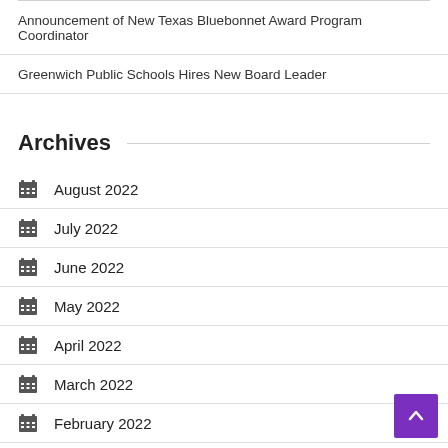Announcement of New Texas Bluebonnet Award Program Coordinator
Greenwich Public Schools Hires New Board Leader
Archives
August 2022
July 2022
June 2022
May 2022
April 2022
March 2022
February 2022
January 2022